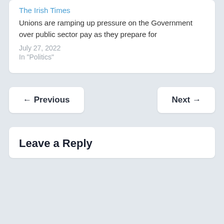The Irish Times
Unions are ramping up pressure on the Government over public sector pay as they prepare for
July 27, 2022
In "Politics"
← Previous
Next →
Leave a Reply